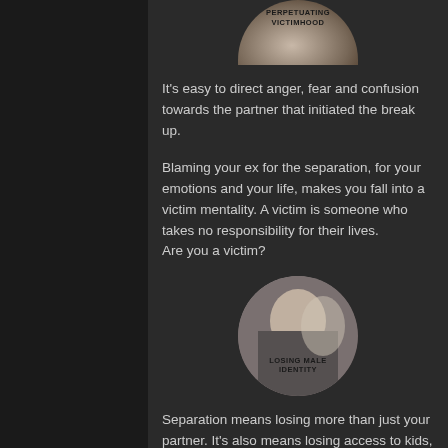[Figure (illustration): Partial circle image at top center with text 'PERPETUATING VICTIMHOOD' overlaid, showing only the bottom half of a circular photo]
It's easy to direct anger, fear and confusion towards the partner that initiated the break up.
Blaming your ex for the separation, for your emotions and your life, makes you fall into a victim mentality. A victim is someone who takes no responsibility for their lives.
Are you a victim?
[Figure (illustration): Circular image of a man covering his face with hands, with text 'LOSING MALE IDENTITY' overlaid]
Separation means losing more than just your partner. It's also means losing access to kids, changing homes and effecting your work.